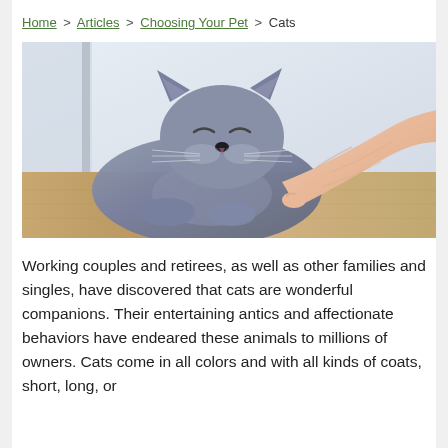Home > Articles > Choosing Your Pet > Cats
[Figure (photo): A grey British Shorthair cat lying down with eyes closed contentedly while a human hand gently touches its chin, on a wooden floor background.]
Working couples and retirees, as well as other families and singles, have discovered that cats are wonderful companions. Their entertaining antics and affectionate behaviors have endeared these animals to millions of owners. Cats come in all colors and with all kinds of coats, short, long, or